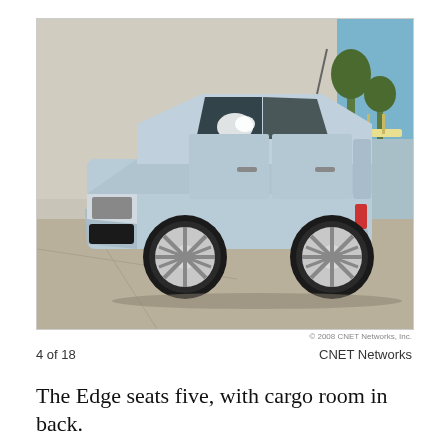[Figure (photo): Side profile photo of a silver/light blue Ford Edge SUV parked on a concrete surface in front of a large gray building wall with blue sky and trees in the background. The vehicle has chrome alloy wheels.]
© 2008 CNET Networks, Inc.
4 of 18    CNET Networks
The Edge seats five, with cargo room in back.